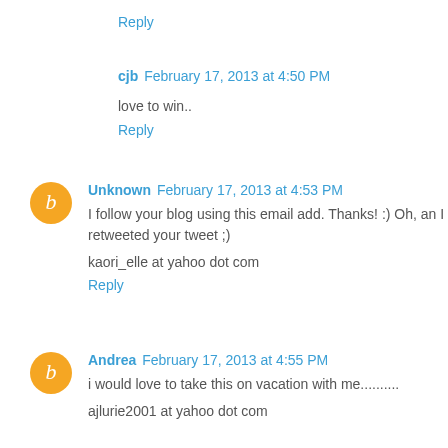Reply
cjb February 17, 2013 at 4:50 PM
love to win..
Reply
Unknown February 17, 2013 at 4:53 PM
I follow your blog using this email add. Thanks! :) Oh, an I retweeted your tweet ;)
kaori_elle at yahoo dot com
Reply
Andrea February 17, 2013 at 4:55 PM
i would love to take this on vacation with me..........
ajlurie2001 at yahoo dot com